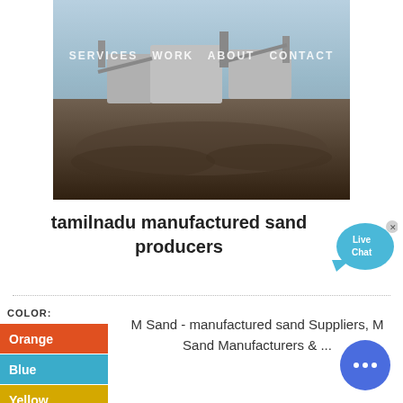[Figure (photo): Photograph of sand manufacturing/quarry machinery and equipment with a sandy/earth landscape background]
SERVICES   WORK   ABOUT   CONTACT
tamilnadu manufactured sand producers
[Figure (other): Live Chat bubble widget in blue]
M Sand - manufactured sand Suppliers, M Sand Manufacturers & ...
COLOR:
Orange
Blue
Yellow
[Figure (other): Blue circular chat widget with three dots]